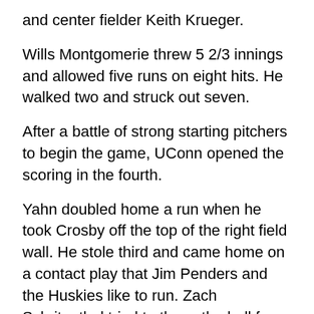and center fielder Keith Krueger.
Wills Montgomerie threw 5 2/3 innings and allowed five runs on eight hits. He walked two and struck out seven.
After a battle of strong starting pitchers to begin the game, UConn opened the scoring in the fourth.
Yahn doubled home a run when he took Crosby off the top of the right field wall. He stole third and came home on a contact play that Jim Penders and the Huskies like to run. Zach Schritenthal tried to throw the ball from third before he had it and Yahn scored without a throw.
Memphis stormed back with three in the fifth to take the lead and made it 5-2 in the sixth. The Huskies committed a throwing error in each frame and